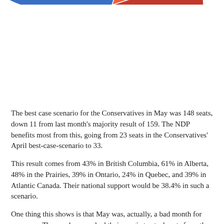[Figure (pie-chart): Seats pie chart (partial)]
The best case scenario for the Conservatives in May was 148 seats, down 11 from last month's majority result of 159. The NDP benefits most from this, going from 23 seats in the Conservatives' April best-case-scenario to 33.
This result comes from 43% in British Columbia, 61% in Alberta, 48% in the Prairies, 39% in Ontario, 24% in Quebec, and 39% in Atlantic Canada. Their national support would be 38.4% in such a scenario.
One thing this shows is that May was, actually, a bad month for everyone. The numbers worked their magic to steal seats from the Tories, despite having a decent month in terms of polling support. But, of course, a great result in a province is only great if a party's opponents do badly as well. Results need to be looked at as whole, not